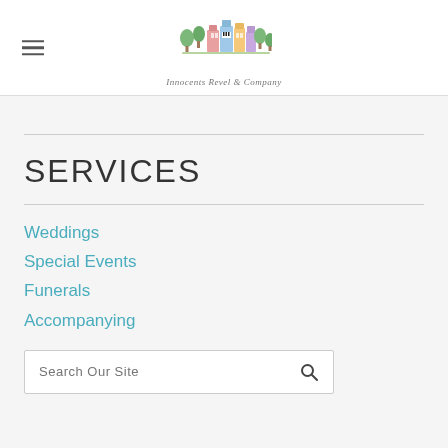[Figure (logo): Colorful illustrated logo with buildings and trees, with text 'Innocents Revel & Company' below]
SERVICES
Weddings
Special Events
Funerals
Accompanying